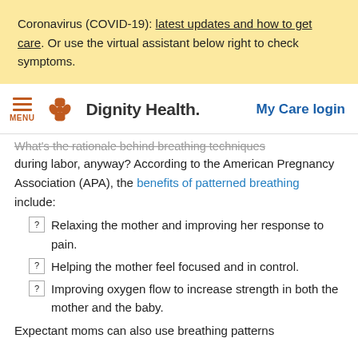Coronavirus (COVID-19): latest updates and how to get care. Or use the virtual assistant below right to check symptoms.
[Figure (logo): Dignity Health logo with orange butterfly/flower icon, hamburger menu icon labeled MENU on left, and 'My Care login' link in blue on right]
What's the rationale behind breathing techniques during labor, anyway? According to the American Pregnancy Association (APA), the benefits of patterned breathing include:
Relaxing the mother and improving her response to pain.
Helping the mother feel focused and in control.
Improving oxygen flow to increase strength in both the mother and the baby.
Expectant moms can also use breathing patterns